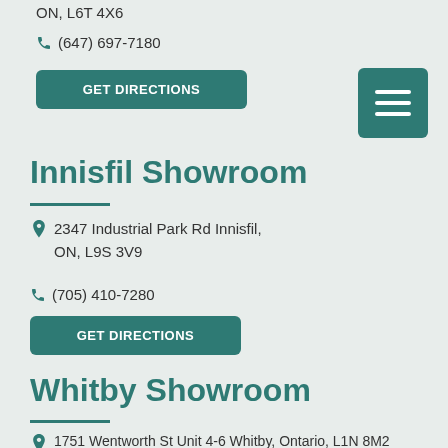ON, L6T 4X6
(647) 697-7180
GET DIRECTIONS
Innisfil Showroom
2347 Industrial Park Rd Innisfil, ON, L9S 3V9
(705) 410-7280
GET DIRECTIONS
Whitby Showroom
1751 Wentworth St Unit 4-6 Whitby, Ontario, L1N 8M2
(647) 277-5056
GET DIRECTIONS